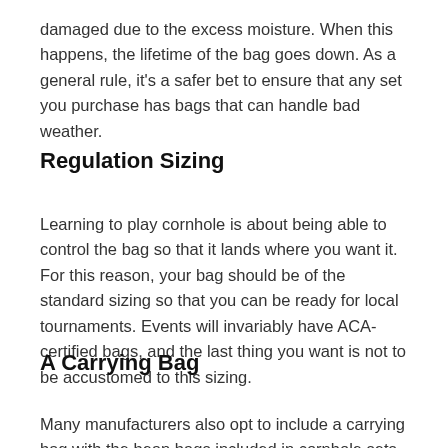damaged due to the excess moisture. When this happens, the lifetime of the bag goes down. As a general rule, it's a safer bet to ensure that any set you purchase has bags that can handle bad weather.
Regulation Sizing
Learning to play cornhole is about being able to control the bag so that it lands where you want it. For this reason, your bag should be of the standard sizing so that you can be ready for local tournaments. Events will invariably have ACA-certified bags, and the last thing you want is not to be accustomed to this sizing.
A Carrying Bag
Many manufacturers also opt to include a carrying bag with the bean bags included in cornhole sets. A quality bag keeps your bean bags together much easier and